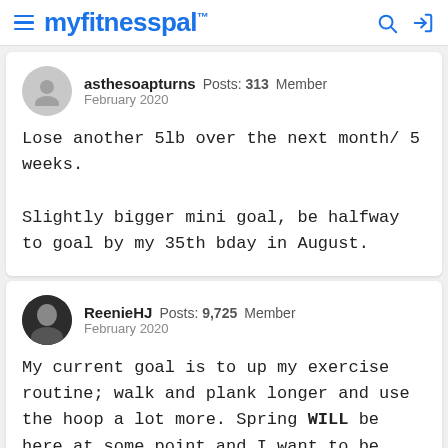myfitnesspal
asthesoapturns  Posts: 313  Member
February 2020
Lose another 5lb over the next month/ 5 weeks.

Slightly bigger mini goal, be halfway to goal by my 35th bday in August.
ReenieHJ  Posts: 9,725  Member
February 2020
My current goal is to up my exercise routine; walk and plank longer and use the hoop a lot more. Spring WILL be here at some point and I want to be ready to walk the hills in my town to improve